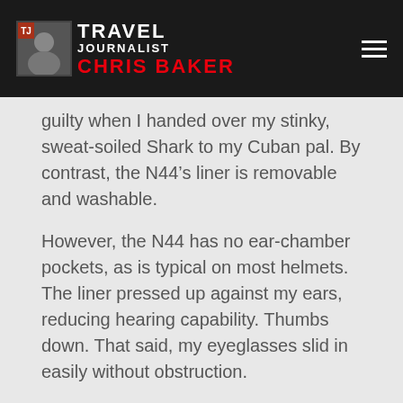TRAVEL JOURNALIST CHRIS BAKER
guilty when I handed over my stinky, sweat-soiled Shark to my Cuban pal. By contrast, the N44’s liner is removable and washable.
However, the N44 has no ear-chamber pockets, as is typical on most helmets. The liner pressed up against my ears, reducing hearing capability. Thumbs down. That said, my eyeglasses slid in easily without obstruction.
Living in the desert, I chose to remove the detachable bottom collar for better air flow… but I can well imagine that in cooler climes, it will be a boon for better draft and noise protection.
The helmet comes Nolan N-Com Bluetooth intercom ready